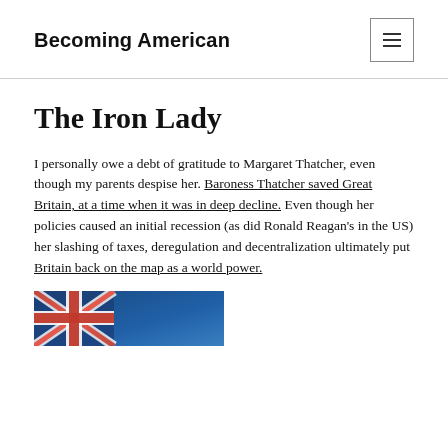Becoming American
The Iron Lady
I personally owe a debt of gratitude to Margaret Thatcher, even though my parents despise her. Baroness Thatcher saved Great Britain, at a time when it was in deep decline. Even though her policies caused an initial recession (as did Ronald Reagan's in the US) her slashing of taxes, deregulation and decentralization ultimately put Britain back on the map as a world power.
[Figure (photo): Partial view of an image showing a flag (appears to be a Union Jack) with a blurred blue background, bottom portion of the page.]